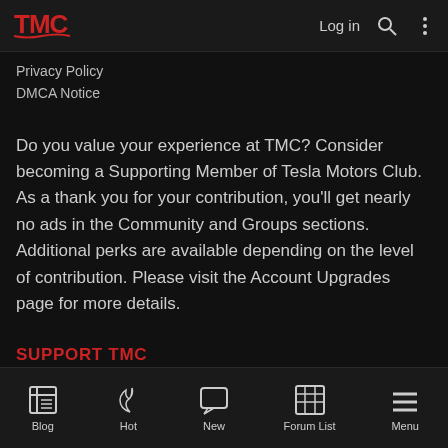TMC Logo | Log in
Privacy Policy
DMCA Notice
Do you value your experience at TMC? Consider becoming a Supporting Member of Tesla Motors Club. As a thank you for your contribution, you'll get nearly no ads in the Community and Groups sections. Additional perks are available depending on the level of contribution. Please visit the Account Upgrades page for more details.
SUPPORT TMC
Blog | Hot | New | Forum List | Menu